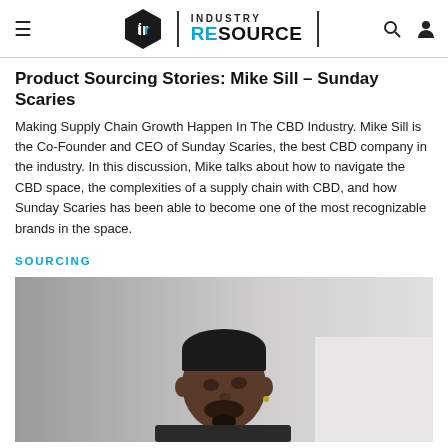INDUSTRY RESOURCE
Product Sourcing Stories: Mike Sill – Sunday Scaries
Making Supply Chain Growth Happen In The CBD Industry. Mike Sill is the Co-Founder and CEO of Sunday Scaries, the best CBD company in the industry. In this discussion, Mike talks about how to navigate the CBD space, the complexities of a supply chain with CBD, and how Sunday Scaries has been able to become one of the most recognizable brands in the space.
SOURCING
[Figure (photo): Photo of Mike Sill, Co-Founder and CEO of Sunday Scaries, looking upward and to the side, wearing a dark shirt, with a beard and earring.]